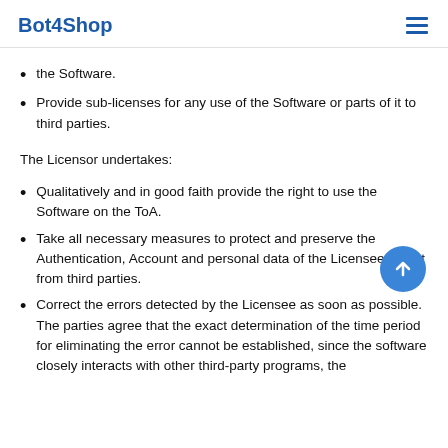Bot4Shop
the Software.
Provide sub-licenses for any use of the Software or parts of it to third parties.
The Licensor undertakes:
Qualitatively and in good faith provide the right to use the Software on the ToA.
Take all necessary measures to protect and preserve the Authentication, Account and personal data of the Licensee secret from third parties.
Correct the errors detected by the Licensee as soon as possible. The parties agree that the exact determination of the time period for eliminating the error cannot be established, since the software closely interacts with other third-party programs, the operating systems and hardware resources of the